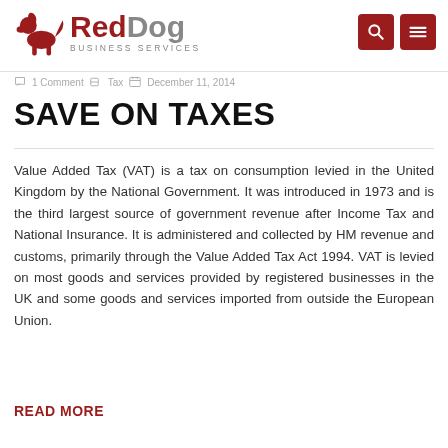Red Dog Business Services
1 Comment  Tax  December 11, 2014
SAVE ON TAXES
Value Added Tax (VAT) is a tax on consumption levied in the United Kingdom by the National Government. It was introduced in 1973 and is the third largest source of government revenue after Income Tax and National Insurance. It is administered and collected by HM revenue and customs, primarily through the Value Added Tax Act 1994. VAT is levied on most goods and services provided by registered businesses in the UK and some goods and services imported from outside the European Union.
READ MORE